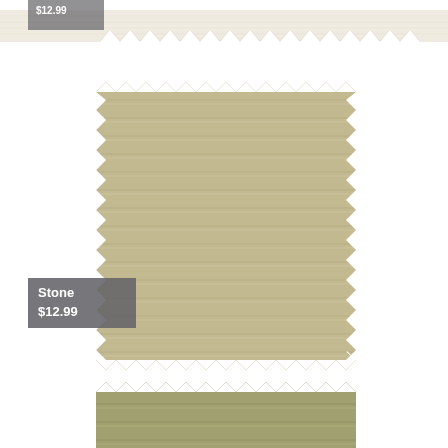[Figure (illustration): Top portion of a cream/white fabric swatch with zigzag pinking shear edges, partially visible at top of page. A dark grey label partially visible in top left corner.]
[Figure (illustration): A large square fabric swatch in stone/tan color with horizontal ribbed texture and zigzag pinking shear edges on all four sides.]
Stone
$12.99
[Figure (illustration): Bottom portion of a fabric swatch in olive/sage green color with zigzag pinking shear edges, partially cut off at bottom of page.]